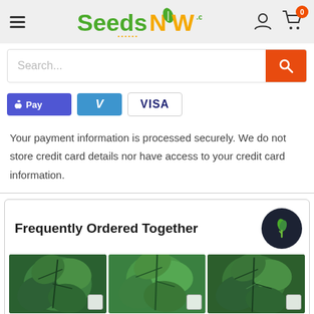SeedsNOW.com
Search...
[Figure (other): Payment method icons: Apple Pay (purple), Venmo (blue V), Visa (white with blue text)]
Your payment information is processed securely. We do not store credit card details nor have access to your credit card information.
Frequently Ordered Together
[Figure (photo): Three herb plant photos (mint/basil varieties) shown side by side in a Frequently Ordered Together section]